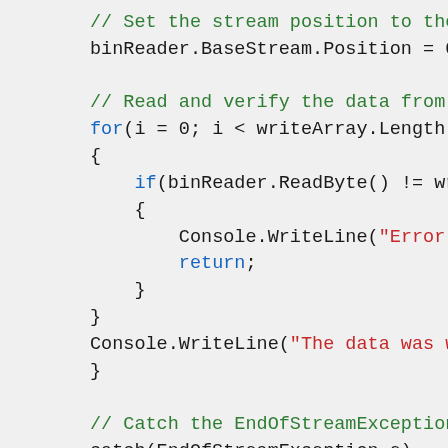// Set the stream position to the...
            binReader.BaseStream.Position = 0

            // Read and verify the data from...
            for(i = 0; i < writeArray.Length;
            {
                if(binReader.ReadByte() != wr
                {
                    Console.WriteLine("Error
                    return;
                }
            }
            Console.WriteLine("The data was w
        }

        // Catch the EndOfStreamException and
        catch(EndOfStreamException e)
        {
            Console.WriteLine("Error writing
                e.GetType().Name);
        }
    }
}